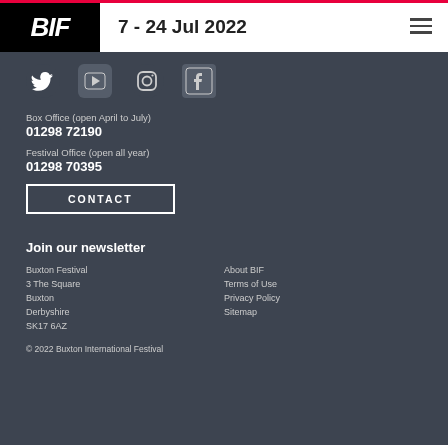BIF — 7 - 24 Jul 2022
[Figure (logo): BIF logo in white text on black background, with Twitter, YouTube, Instagram, Facebook social media icons below]
Box Office (open April to July)
01298 72190
Festival Office (open all year)
01298 70395
CONTACT
Join our newsletter
Buxton Festival
3 The Square
Buxton
Derbyshire
SK17 6AZ
About BIF
Terms of Use
Privacy Policy
Sitemap
© 2022 Buxton International Festival